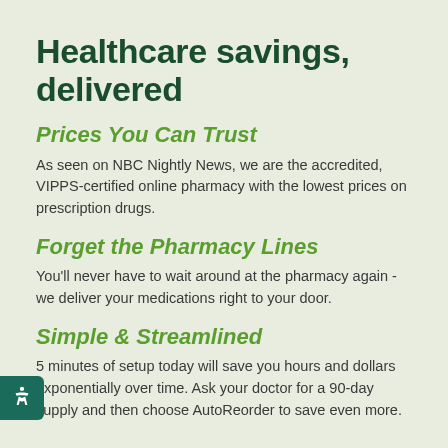Healthcare savings, delivered
Prices You Can Trust
As seen on NBC Nightly News, we are the accredited, VIPPS-certified online pharmacy with the lowest prices on prescription drugs.
Forget the Pharmacy Lines
You'll never have to wait around at the pharmacy again - we deliver your medications right to your door.
Simple & Streamlined
5 minutes of setup today will save you hours and dollars exponentially over time. Ask your doctor for a 90-day supply and then choose AutoReorder to save even more.